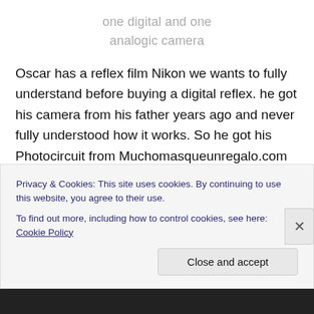one digital and one
analogic camera
Oscar has a reflex film Nikon we wants to fully understand before buying a digital reflex. he got his camera from his father years ago and never fully understood how it works. So he got his Photocircuit from Muchomasqueunregalo.com and came along with 2 cameras.
We met at the Jaume I metro station, near Plaça St. Jaume
Privacy & Cookies: This site uses cookies. By continuing to use this website, you agree to their use.
To find out more, including how to control cookies, see here: Cookie Policy
Close and accept